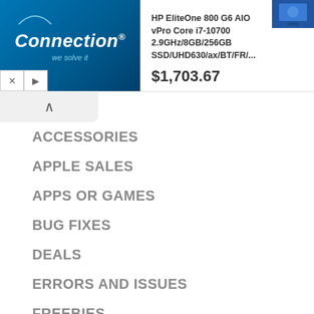[Figure (screenshot): Advertisement banner for PC Connection showing HP EliteOne 800 G6 AIO vPro Core i7-10700 2.9GHz/8GB/256GB SSD/UHD630/ax/BT/FR/... priced at $1,703.67 with Connection logo on blue background and product image thumbnail]
ACCESSORIES
APPLE SALES
APPS OR GAMES
BUG FIXES
DEALS
ERRORS AND ISSUES
FREEBIES
HOW TO
JAILBREAKING
LEAKS AND RUMORS
NEWS
REVIEWS